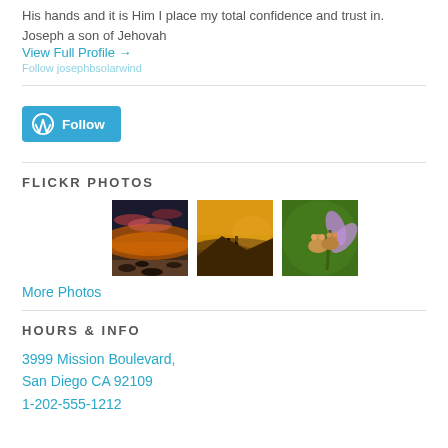His hands and it is Him I place my total confidence and trust in. Joseph a son of Jehovah
View Full Profile →
[Figure (other): WordPress Follow button]
FLICKR PHOTOS
[Figure (photo): Three Flickr photos: sunset over rocky ocean shore, golden hour landscape with silhouettes, two harvest mice on a flower]
More Photos
HOURS & INFO
3999 Mission Boulevard, San Diego CA 92109 1-202-555-1212